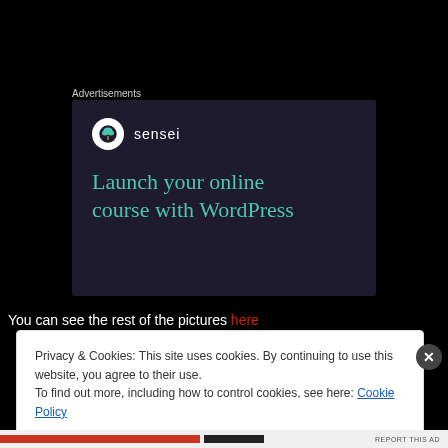Advertisements
[Figure (illustration): Sensei advertisement banner with dark purple background. Sensei logo (tree icon in white circle) and text 'sensei' in white. Large teal/green heading: 'Launch your online course with WordPress']
You can see the rest of the pictures here
Privacy & Cookies: This site uses cookies. By continuing to use this website, you agree to their use. To find out more, including how to control cookies, see here: Cookie Policy
Close and accept